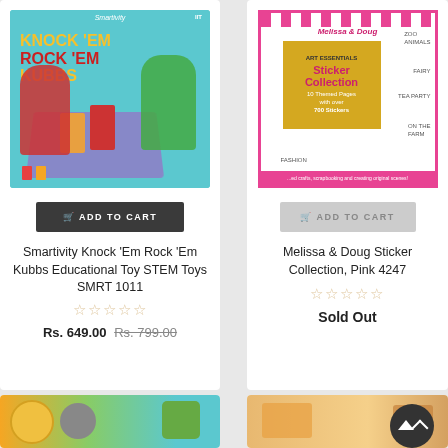[Figure (photo): Smartivity Knock Em Rock Em Kubbs educational toy product image with teal background showing illustrated kids playing a game]
ADD TO CART
Smartivity Knock 'Em Rock 'Em Kubbs Educational Toy STEM Toys SMRT 1011
★★★★★ (empty stars)
Rs. 649.00 Rs. 799.00
[Figure (photo): Melissa and Doug Art Essentials Sticker Collection Pink 4247 product image with pink border and illustrated sticker cover]
ADD TO CART
Melissa & Doug Sticker Collection, Pink 4247
★★★★★ (empty stars)
Sold Out
[Figure (photo): Partial bottom product card showing animal-themed toy image]
[Figure (photo): Partial bottom product card showing orange/tan colored toy image]